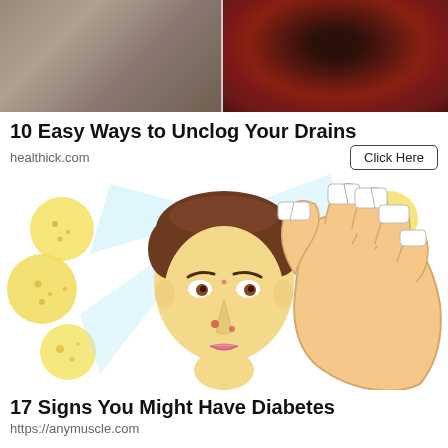[Figure (photo): Two side-by-side photos at top: left shows a close-up of porous/textured skin or material in gray-brown tones; right shows a dark red bowl or cup with a dark substance, viewed from above.]
10 Easy Ways to Unclog Your Drains
healthick.com
[Figure (illustration): A health/medical illustration showing a worried woman's face with acne and pimple spots, surrounded by yellow circles showing skin bacteria/pores, and a large illustrated hand with white-tipped broken nails on the right side — related to diabetes signs.]
17 Signs You Might Have Diabetes
https://anymuscle.com